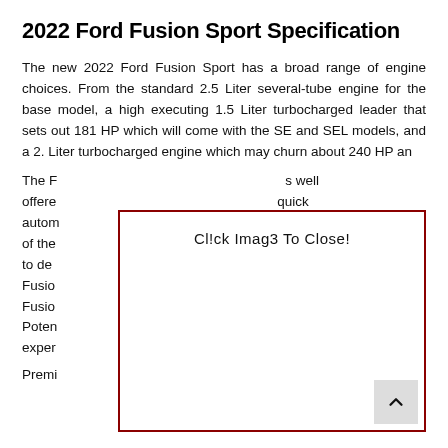2022 Ford Fusion Sport Specification
The new 2022 Ford Fusion Sport has a broad range of engine choices. From the standard 2.5 Liter several-tube engine for the base model, a high executing 1.5 Liter turbocharged leader that sets out 181 HP which will come with the SE and SEL models, and a 2. Liter turbocharged engine which may churn about 240 HP an
[Figure (screenshot): A modal overlay box with dark red border containing the text 'Cl!ck Imag3 To Close!' and a scroll-to-top arrow button in the bottom right corner]
The F... s well offere... quick autom... hnance of the... s hard to de... Ford Fusio... Ford Fusio... ments. Poten... rating exper...
Premi... aging